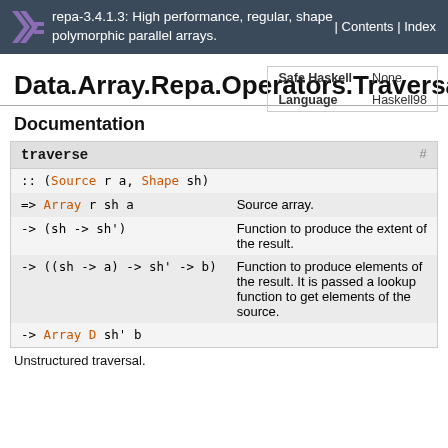repa-3.4.1.3: High performance, regular, shape polymorphic parallel arrays. | Contents | Index
| Safe Haskell | None |
| --- | --- |
| Language | Haskell98 |
Data.Array.Repa.Operators.Traversal
Documentation
| traverse | # |
| --- | --- |
| :: (Source r a, Shape sh) |  |
| => Array r sh a | Source array. |
| -> (sh -> sh') | Function to produce the extent of the result. |
| -> ((sh -> a) -> sh' -> b) | Function to produce elements of the result. It is passed a lookup function to get elements of the source. |
| -> Array D sh' b |  |
Unstructured traversal.